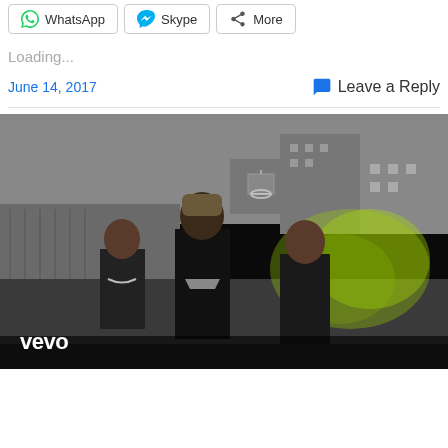WhatsApp   Skype   More (share buttons)
Loading...
June 14, 2017
Leave a Reply
[Figure (screenshot): Video thumbnail from Vevo showing three men standing in an urban basketball court setting. The image is mostly black and white with a green/yellow smoke cloud visible on the right side. The Vevo logo is in the bottom-left corner.]